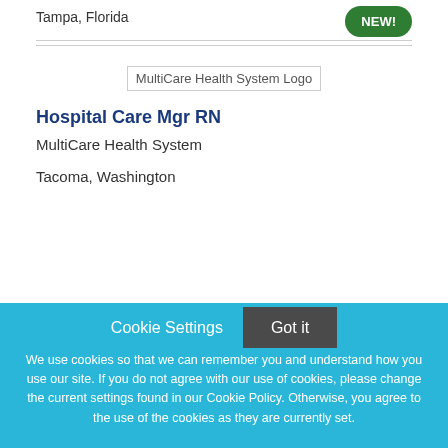Tampa, Florida
[Figure (logo): NEW! badge - green oval badge with white bold text]
[Figure (logo): MultiCare Health System Logo placeholder image]
Hospital Care Mgr RN
MultiCare Health System
Tacoma, Washington
Cookie Settings  Got it
We use cookies so that we can remember you and understand how you use our site. If you do not agree with our use of cookies, please change the current settings found in our Cookie Policy. Otherwise, you agree to the use of the cookies as they are currently set.